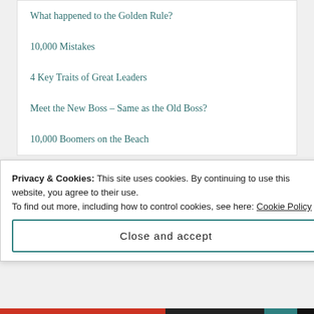What happened to the Golden Rule?
10,000 Mistakes
4 Key Traits of Great Leaders
Meet the New Boss – Same as the Old Boss?
10,000 Boomers on the Beach
WEBMAN'S TWITTER
Privacy & Cookies: This site uses cookies. By continuing to use this website, you agree to their use.
To find out more, including how to control cookies, see here: Cookie Policy
Close and accept